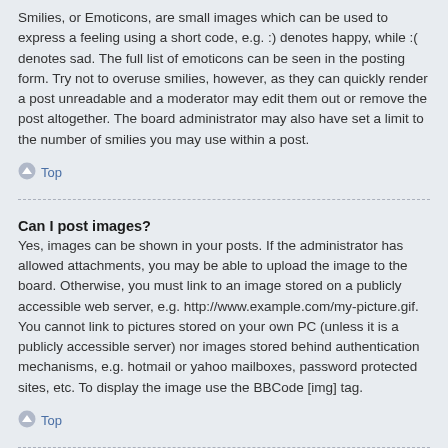Smilies, or Emoticons, are small images which can be used to express a feeling using a short code, e.g. :) denotes happy, while :( denotes sad. The full list of emoticons can be seen in the posting form. Try not to overuse smilies, however, as they can quickly render a post unreadable and a moderator may edit them out or remove the post altogether. The board administrator may also have set a limit to the number of smilies you may use within a post.
Top
Can I post images?
Yes, images can be shown in your posts. If the administrator has allowed attachments, you may be able to upload the image to the board. Otherwise, you must link to an image stored on a publicly accessible web server, e.g. http://www.example.com/my-picture.gif. You cannot link to pictures stored on your own PC (unless it is a publicly accessible server) nor images stored behind authentication mechanisms, e.g. hotmail or yahoo mailboxes, password protected sites, etc. To display the image use the BBCode [img] tag.
Top
What are global announcements?
Global announcements contain important information and you should read them whenever possible. They will appear at the top of every forum and within your User Control Panel. Global announcement permissions are